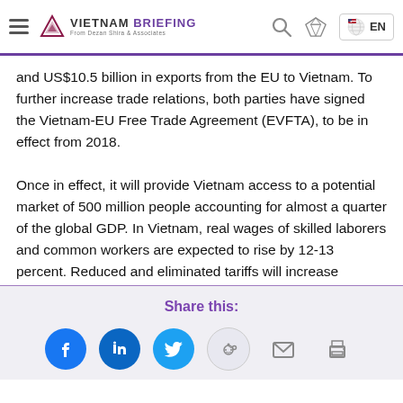Vietnam Briefing — navigation bar with logo, search, and language selector (EN)
and US$10.5 billion in exports from the EU to Vietnam. To further increase trade relations, both parties have signed the Vietnam-EU Free Trade Agreement (EVFTA), to be in effect from 2018.

Once in effect, it will provide Vietnam access to a potential market of 500 million people accounting for almost a quarter of the global GDP. In Vietnam, real wages of skilled laborers and common workers are expected to rise by 12-13 percent. Reduced and eliminated tariffs will increase
Share this:
[Figure (infographic): Social sharing icons: Facebook (blue circle), LinkedIn (blue circle), Twitter (light blue circle), Reddit (light grey circle), Email (envelope icon), Print (printer icon)]